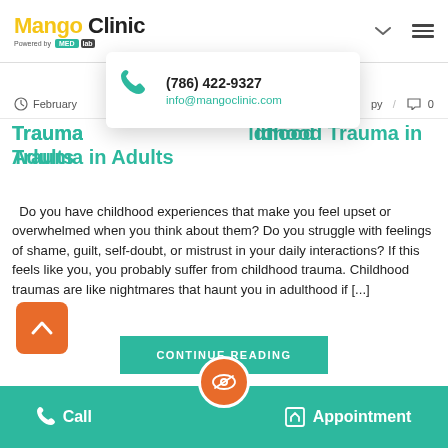Mango Clinic — Powered by MEDLAB
[Figure (screenshot): Dropdown contact popup showing phone number (786) 422-9327 and email info@mangoclinic.com with teal phone icon]
February [date] / 0 [comments]
Trauma... ldhood Trauma in Adults
Do you have childhood experiences that make you feel upset or overwhelmed when you think about them? Do you struggle with feelings of shame, guilt, self-doubt, or mistrust in your daily interactions? If this feels like you, you probably suffer from childhood trauma. Childhood traumas are like nightmares that haunt you in adulthood if [...]
[Figure (screenshot): Orange scroll-to-top button with upward chevron arrow]
[Figure (screenshot): Teal CONTINUE READING button]
Call | [eye icon] | Appointment